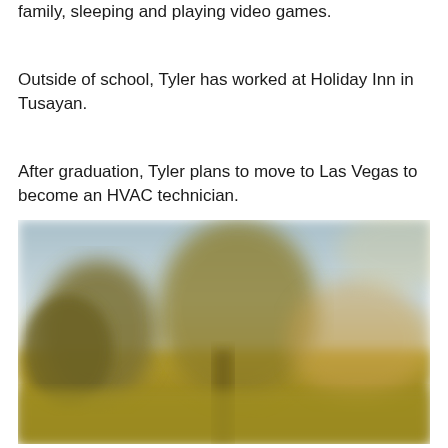family, sleeping and playing video games.
Outside of school, Tyler has worked at Holiday Inn in Tusayan.
After graduation, Tyler plans to move to Las Vegas to become an HVAC technician.
[Figure (photo): A blurred outdoor photograph showing a warm golden-yellow landscape scene with trees and sky in soft focus.]